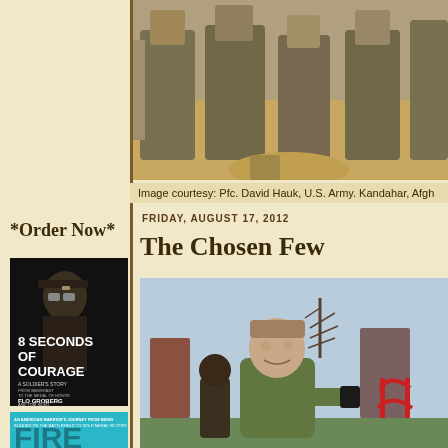[Figure (photo): Photograph of soldiers in camouflage uniforms standing in sandy/desert environment, Kandahar, Afghanistan]
Image courtesy: Pfc. David Hauk, U.S. Army. Kandahar, Afgh
*Order Now*
[Figure (illustration): Book cover: '8 Seconds of Courage: A Soldier's Story From Immigrant to the Medal of Honor' by Flo Groberg and Tom Sileo. Dark cover with soldier saluting in silhouette.]
[Figure (illustration): Partial view of second book cover with teal/cyan background. Text reads 'An American Warrior's Journey from being blinded on the battlefield to Gold Medal Victory'. Large partial letters visible at bottom.]
FRIDAY, AUGUST 17, 2012
The Chosen Few
[Figure (photo): Photo of a young man in a green sweatshirt smiling, standing outdoors near a playground with red equipment. Winter trees and brick buildings visible in background.]